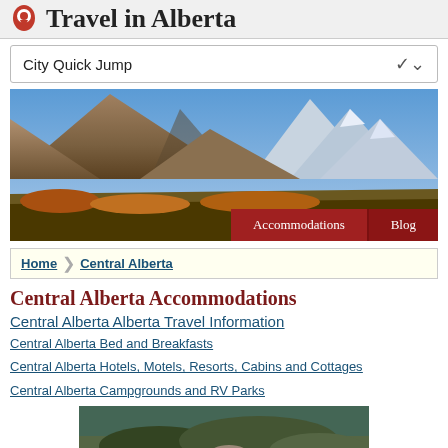Travel in Alberta
City Quick Jump
[Figure (photo): Mountain landscape in Alberta with rocky peaks and blue sky]
Accommodations | Blog
Home > Central Alberta
Central Alberta Accommodations
Central Alberta Alberta Travel Information
Central Alberta Bed and Breakfasts
Central Alberta Hotels, Motels, Resorts, Cabins and Cottages
Central Alberta Campgrounds and RV Parks
[Figure (photo): Outdoor scenic photo at bottom of page]